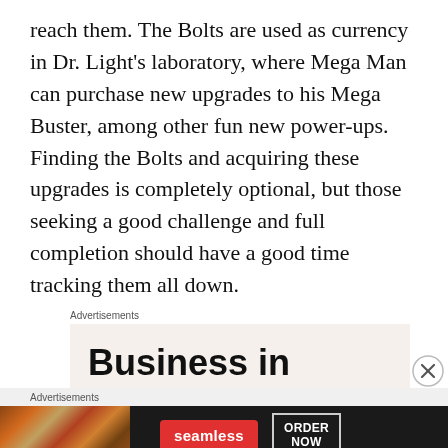reach them. The Bolts are used as currency in Dr. Light's laboratory, where Mega Man can purchase new upgrades to his Mega Buster, among other fun new power-ups. Finding the Bolts and acquiring these upgrades is completely optional, but those seeking a good challenge and full completion should have a good time tracking them all down.
[Figure (screenshot): Advertisement banner reading 'Business in the front...' on a light beige background with an orange/red gradient bar at the bottom]
[Figure (screenshot): Seamless food delivery advertisement showing pizza on dark background with Seamless logo button and ORDER NOW button]